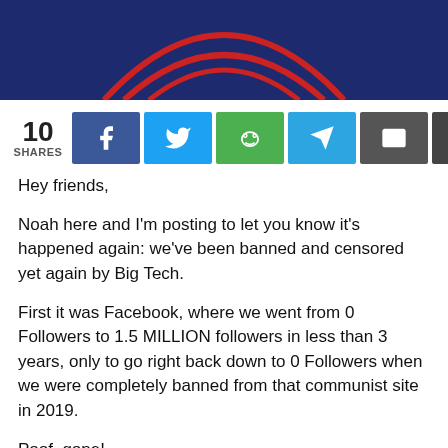[Figure (logo): Dark navy blue banner with a partial red arc/logo graphic at the bottom center]
10 SHARES [social share buttons: Facebook, Twitter, Reddit, Telegram, Email, Print]
Hey friends,
Noah here and I'm posting to let you know it's happened again: we've been banned and censored yet again by Big Tech.
First it was Facebook, where we went from 0 Followers to 1.5 MILLION followers in less than 3 years, only to go right back down to 0 Followers when we were completely banned from that communist site in 2019.
Poof, gone!
Then, a year later we were banned by TWO email companies.